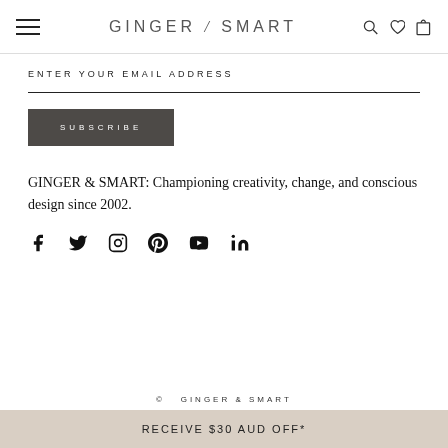GINGER / SMART
ENTER YOUR EMAIL ADDRESS
SUBSCRIBE
GINGER & SMART: Championing creativity, change, and conscious design since 2002.
[Figure (infographic): Social media icons row: Facebook, Twitter, Instagram, Pinterest, YouTube, LinkedIn]
© GINGER & SMART
RECEIVE $30 AUD OFF*